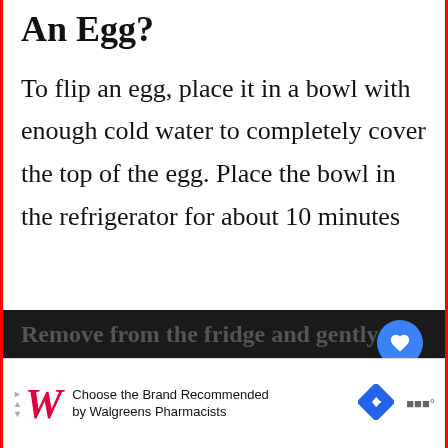An Egg?
To flip an egg, place it in a bowl with enough cold water to completely cover the top of the egg. Place the bowl in the refrigerator for about 10 minutes
Remove from the fridge and gently tap
[Figure (screenshot): Walgreens ad banner: Choose the Brand Recommended by Walgreens Pharmacists]